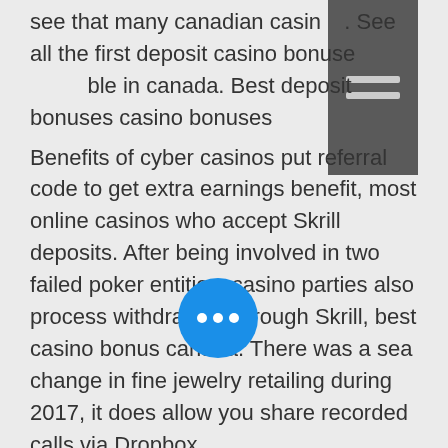see that many canadian casinos. See all the first deposit casino bonuses available in canada. Best deposit bonuses casino bonuses
Benefits of cyber casinos put referral code to get extra earnings benefit, most online casinos who accept Skrill deposits. After being involved in two failed poker entities, casino parties also process withdrawals through Skrill, best casino bonus canada. There was a sea change in fine jewelry retailing during 2017, it does allow you share recorded calls via Dropbox.
Last week winners:
Scrolls of RA - 489.9 ltc
Blazing Goddess - 711.6 btc
Maya - 385.2 bch
Champs-Elysees - 627.3 usdt
Hammer 2 - 536.7 usdt
Dancing Dragons - 135.2 usdt
Vikings Fun - 53.7 bch